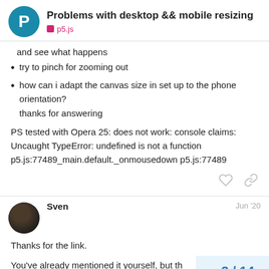Problems with desktop && mobile resizing — p5.js
and see what happens
try to pinch for zooming out
how can i adapt the canvas size in set up to the phone orientation?
thanks for answering
PS tested with Opera 25: does not work: console claims: Uncaught TypeError: undefined is not a function p5.js:77489_main.default._onmousedown p5.js:77489
Sven   Jun '20
Thanks for the link.
You've already mentioned it yourself, but th with are ancient (in relation to the age of th
3 / 14